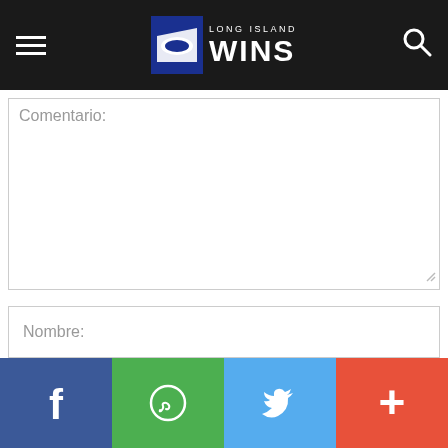Long Island WINS navigation bar with logo
Comentario:
Nombre:
Correo electrónico:
Sitio web:
[Figure (screenshot): Social sharing bar with Facebook, WhatsApp, Twitter, and Plus buttons]